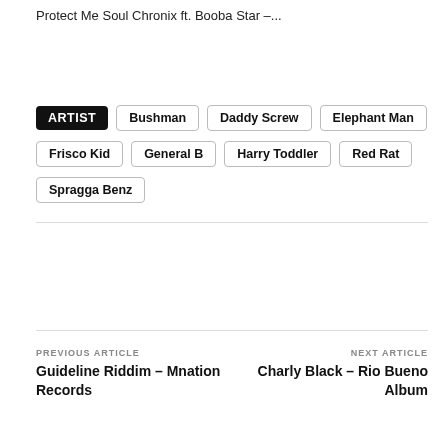Protect Me Soul Chronix ft. Booba Star –...
ARTIST | Bushman | Daddy Screw | Elephant Man | Frisco Kid | General B | Harry Toddler | Red Rat | Spragga Benz
PREVIOUS ARTICLE
Guideline Riddim – Mnation Records
NEXT ARTICLE
Charly Black – Rio Bueno Album